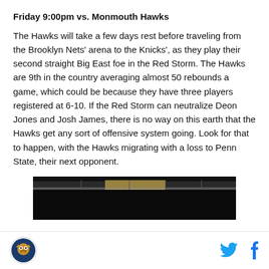Friday 9:00pm vs. Monmouth Hawks
The Hawks will take a few days rest before traveling from the Brooklyn Nets' arena to the Knicks', as they play their second straight Big East foe in the Red Storm. The Hawks are 9th in the country averaging almost 50 rebounds a game, which could be because they have three players registered at 6-10. If the Red Storm can neutralize Deon Jones and Josh James, there is no way on this earth that the Hawks get any sort of offensive system going. Look for that to happen, with the Hawks migrating with a loss to Penn State, their next opponent.
[Figure (photo): Dark scoreboard or arena image strip]
Logo, Twitter icon, Facebook icon